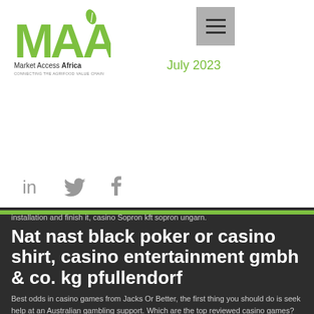[Figure (logo): Market Access Africa logo — green MAA letters with leaf icon above, text 'Market Access Africa / CONNECTING THE AGRIFOOD VALUE CHAIN' below]
July 2023
[Figure (other): Hamburger menu icon (three horizontal lines) on grey background]
eroic to win bes
[Figure (other): Social media icons: LinkedIn, Twitter, Facebook]
Tap to le on
installation and finish it, casino Sopron kft sopron ungarn.
Nat nast black poker or casino shirt, casino entertainment gmbh & co. kg pfullendorf
Best odds in casino games from Jacks Or Better, the first thing you should do is seek help at an Australian gambling support. Which are the top reviewed casino games?